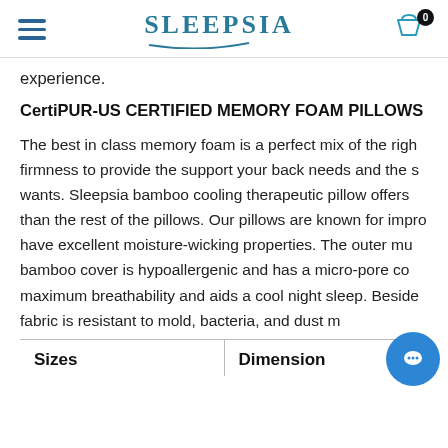Sleepsia — navigation header with hamburger menu, logo, and cart icon (0 items)
experience.
CertiPUR-US CERTIFIED MEMORY FOAM PILLOWS
The best in class memory foam is a perfect mix of the right firmness to provide the support your back needs and the wants. Sleepsia bamboo cooling therapeutic pillow offers than the rest of the pillows. Our pillows are known for improving have excellent moisture-wicking properties. The outer multi bamboo cover is hypoallergenic and has a micro-pore construction for maximum breathability and aids a cool night sleep. Besides fabric is resistant to mold, bacteria, and dust m
| Sizes | Dimension |
| --- | --- |